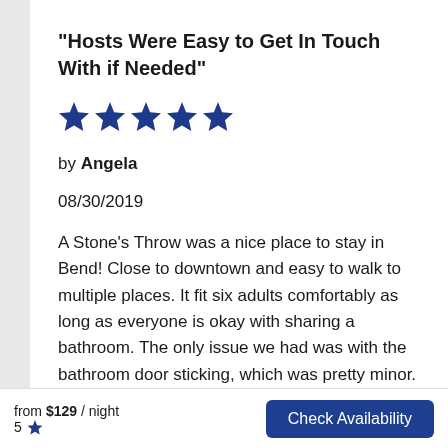"Hosts Were Easy to Get In Touch With if Needed"
[Figure (other): 5 blue star rating icons]
by Angela
08/30/2019
A Stone’s Throw was a nice place to stay in Bend! Close to downtown and easy to walk to multiple places. It fit six adults comfortably as long as everyone is okay with sharing a bathroom. The only issue we had was with the bathroom door sticking, which was pretty minor. The outdoor space in the backyard with
from $129 / night  5 ★  Check Availability